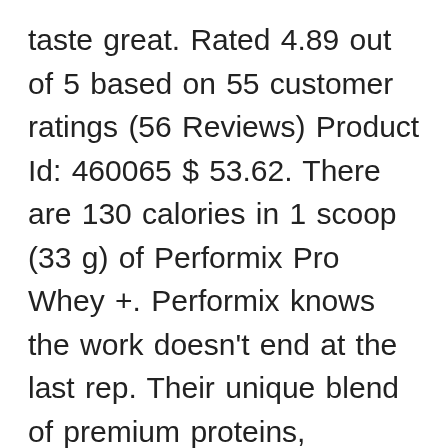taste great. Rated 4.89 out of 5 based on 55 customer ratings (56 Reviews) Product Id: 460065 $ 53.62. There are 130 calories in 1 scoop (33 g) of Performix Pro Whey +. Performix knows the work doesn't end at the last rep. Their unique blend of premium proteins, combined with their tri-phase amino release, work together to enhance muscle protein synthesis for hours after you leave the gym to maximize growth and recovery. This button opens a dialog that displays additional images for this product with the option to zoom in or out. Shop for the best health and fitness brands at The Vitamin Shoppe® Conroe located at 19075 Interstate 45 North in Conroe. Find answers in